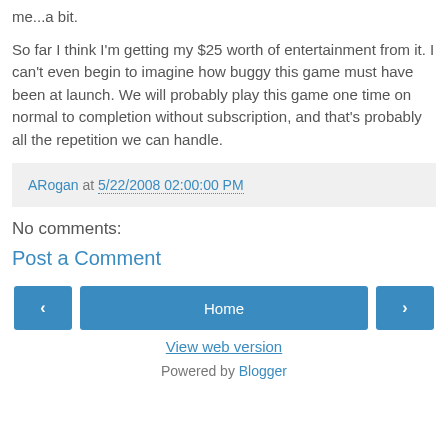me...a bit.
So far I think I'm getting my $25 worth of entertainment from it. I can't even begin to imagine how buggy this game must have been at launch. We will probably play this game one time on normal to completion without subscription, and that's probably all the repetition we can handle.
ARogan at 5/22/2008 02:00:00 PM
No comments:
Post a Comment
‹
Home
›
View web version
Powered by Blogger